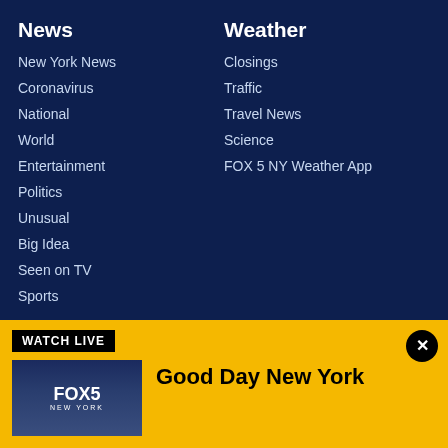News
New York News
Coronavirus
National
World
Entertainment
Politics
Unusual
Big Idea
Seen on TV
Sports
Weather
Closings
Traffic
Travel News
Science
FOX 5 NY Weather App
WATCH LIVE
[Figure (screenshot): FOX 5 New York logo thumbnail with city skyline background]
Good Day New York